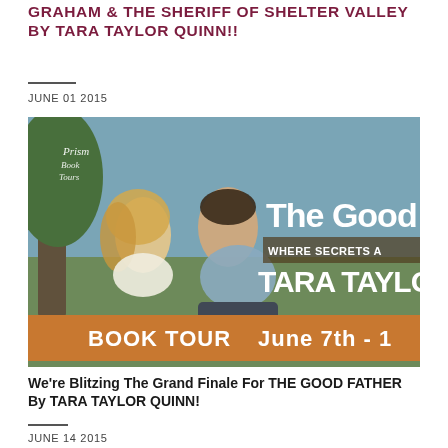GRAHAM & THE SHERIFF OF SHELTER VALLEY BY TARA TAYLOR QUINN!!
JUNE 01 2015
[Figure (photo): Book tour promotional banner for 'The Good Father' by Tara Taylor Quinn, showing a couple sitting together outdoors with text 'The Good', 'WHERE SECRETS A', 'TARA TAYLO', 'BOOK TOUR June 7th - 1' on an orange banner, with Prism Book Tours logo in upper left.]
We're Blitzing The Grand Finale For THE GOOD FATHER By TARA TAYLOR QUINN!
JUNE 14 2015